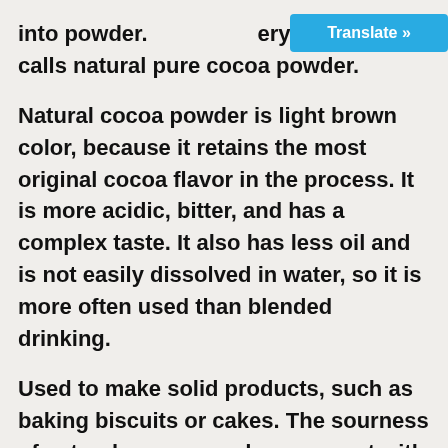into powder. everyone often calls natural pure cocoa powder.
Natural cocoa powder is light brown color, because it retains the most original cocoa flavor in the process. It is more acidic, bitter, and has a complex taste. It also has less oil and is not easily dissolved in water, so it is more often used than blended drinking.
Used to make solid products, such as baking biscuits or cakes. The sourness of natural cocoa powder can react with the added baking soda when making cakes or desserts to release titanium